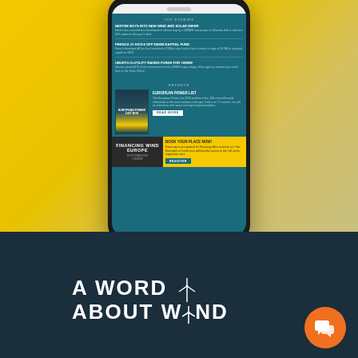[Figure (screenshot): Mobile phone mockup showing a wind energy news app with top stories, reports section, and event promotion for Financing Wind Europe. App has teal/dark green background with stories about wind and solar energy.]
[Figure (logo): A Word About Wind logo — white bold uppercase text on dark navy background with a wind turbine icon replacing the I in WIND. Orange chat bubble icon in bottom right corner.]